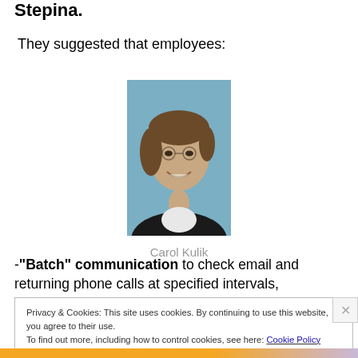Stepina.
They suggested that employees:
[Figure (photo): Headshot photo of Carol Kulik, a woman with short brown hair wearing a dark jacket and white shirt, smiling, against a light blue background.]
Carol Kulik
-“Batch” communication to check email and returning phone calls at specified intervals,
Privacy & Cookies: This site uses cookies. By continuing to use this website, you agree to their use.
To find out more, including how to control cookies, see here: Cookie Policy